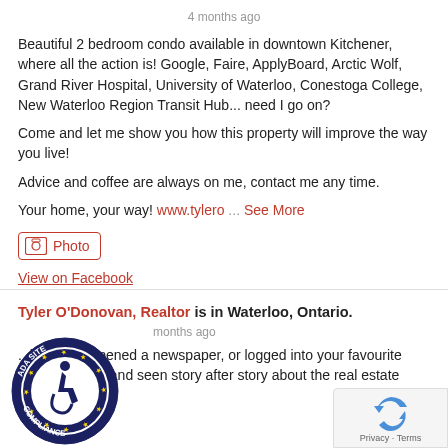4 months ago
Beautiful 2 bedroom condo available in downtown Kitchener, where all the action is! Google, Faire, ApplyBoard, Arctic Wolf, Grand River Hospital, University of Waterloo, Conestoga College, New Waterloo Region Transit Hub... need I go on?
Come and let me show you how this property will improve the way you live!
Advice and coffee are always on me, contact me any time.
Your home, your way! www.tylero ... See More
Photo
View on Facebook
Tyler O'Donovan, Realtor is in Waterloo, Ontario.
months ago
...have you opened a newspaper, or logged into your favourite news website, and seen story after story about the real estate market?